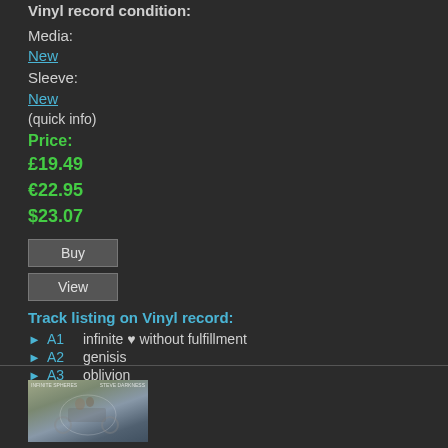Vinyl record condition:
Media:
New
Sleeve:
New
(quick info)
Price:
£19.49
€22.95
$23.07
Buy
View
Track listing on Vinyl record:
A1   infinite ♥ without fulfillment
A2   genisis
A3   oblivion
A4   eight
[Figure (photo): Album cover thumbnail showing two people on a motorcycle]